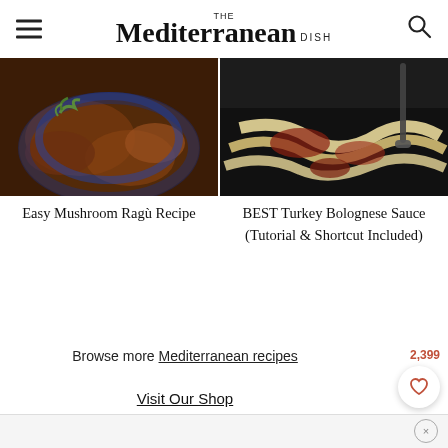THE Mediterranean DISH
[Figure (photo): Photo of mushroom ragu dish in a blue bowl with parsley garnish]
[Figure (photo): Photo of turkey bolognese sauce with pasta in a dark pan]
Easy Mushroom Ragù Recipe
BEST Turkey Bolognese Sauce (Tutorial & Shortcut Included)
Browse more Mediterranean recipes
Visit Our Shop